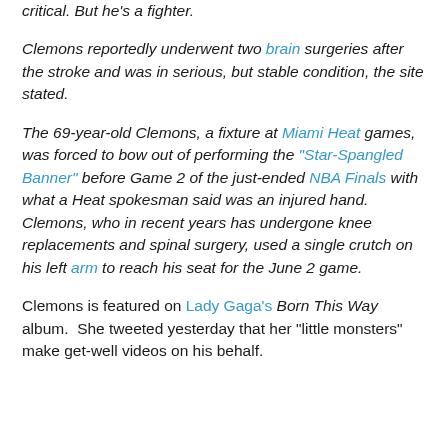critical. But he's a fighter.
Clemons reportedly underwent two brain surgeries after the stroke and was in serious, but stable condition, the site stated.
The 69-year-old Clemons, a fixture at Miami Heat games, was forced to bow out of performing the "Star-Spangled Banner" before Game 2 of the just-ended NBA Finals with what a Heat spokesman said was an injured hand. Clemons, who in recent years has undergone knee replacements and spinal surgery, used a single crutch on his left arm to reach his seat for the June 2 game.
Clemons is featured on Lady Gaga's Born This Way album. She tweeted yesterday that her "little monsters" make get-well videos on his behalf.